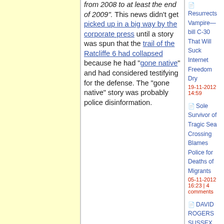from 2008 to at least the end of 2009". This news didn't get picked up in a big way by the corporate press until a story was spun that the trail of the Ratcliffe 6 had collapsed because he had "gone native" and had considered testifying for the defense. The "gone native" story was probably police disinformation.
Resurrects Vampire—bill C-30 That Will Suck Internet Freedom Dry | 19-11-2012 14:59
Sole Survivor of Tragic Sea Crossing Blames Police for Deaths of Migrants | 05-11-2012 16:23 | 4 comments
DAVID ROGERS SUSSEX POLICE CRIME COMMISSIONER | 03-11-2012 22:07
Katy Bourne Candidate for Sussex Police Crime Commissioner | 03-11-2012 18:20 | 1 comment